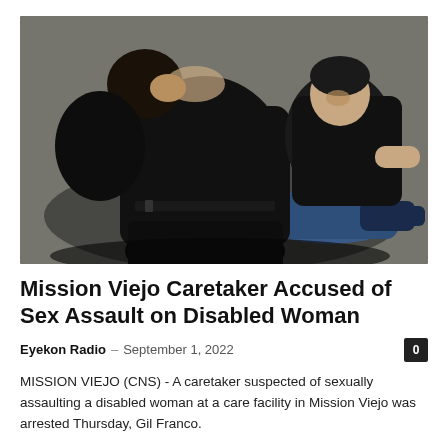[Figure (photo): Photo of two people in dark clothing restraining a third person on the ground outdoors on pavement.]
Mission Viejo Caretaker Accused of Sex Assault on Disabled Woman
Eyekon Radio – September 1, 2022
MISSION VIEJO (CNS) - A caretaker suspected of sexually assaulting a disabled woman at a care facility in Mission Viejo was arrested Thursday, Gil Franco.